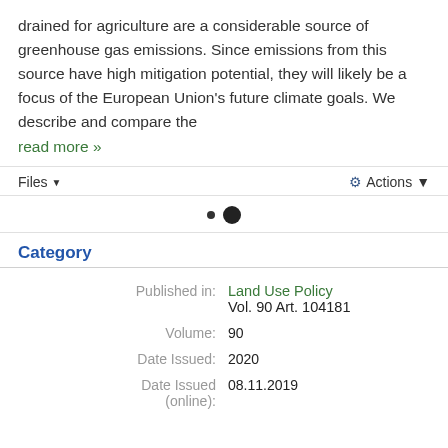drained for agriculture are a considerable source of greenhouse gas emissions. Since emissions from this source have high mitigation potential, they will likely be a focus of the European Union's future climate goals. We describe and compare the
read more »
Files ▼ Actions ▼
Category
|  |  |
| --- | --- |
| Published in: | Land Use Policy
Vol. 90 Art. 104181 |
| Volume: | 90 |
| Date Issued: | 2020 |
| Date Issued (online): | 08.11.2019 |